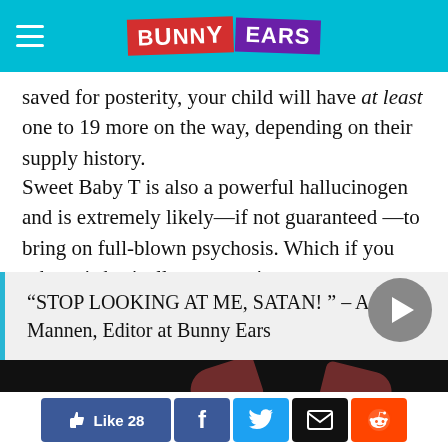Bunny Ears
saved for posterity, your child will have at least one to 19 more on the way, depending on their supply history.
Sweet Baby T is also a powerful hallucinogen and is extremely likely—if not guaranteed —to bring on full-blown psychosis. Which if you ask us, is basically a staycation.
“STOP LOOKING AT ME, SATAN! ” – Amanda Mannen, Editor at Bunny Ears
[Figure (screenshot): Dark video thumbnail with hand silhouettes and a play button]
Like 28 | Facebook | Twitter | Email | Reddit